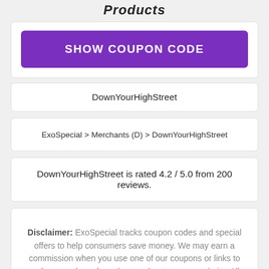Products
[Figure (other): Purple button labeled SHOW COUPON CODE]
DownYourHighStreet
ExoSpecial > Merchants (D) > DownYourHighStreet
DownYourHighStreet is rated 4.2 / 5.0 from 200 reviews.
Disclaimer: ExoSpecial tracks coupon codes and special offers to help consumers save money. We may earn a commission when you use one of our coupons or links to make a purchase from the merchants on our website. All trademarks are the